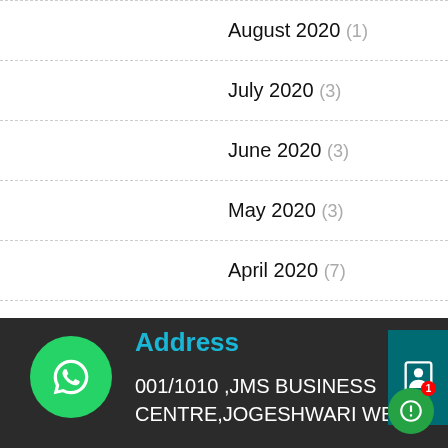August 2020 (1)
July 2020 (3)
June 2020 (3)
May 2020 (3)
April 2020 (7)
March 2020 (22)
Address
001/1010 ,JMS BUSINESS CENTRE,JOGESHWARI WEST,